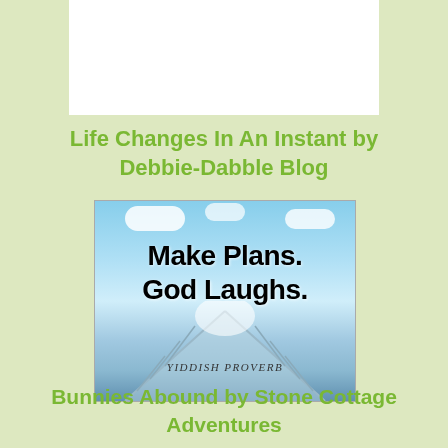[Figure (other): White rectangle placeholder box at top of page]
Life Changes In An Instant by Debbie-Dabble Blog
[Figure (illustration): Inspirational quote image showing a bridge perspective with sky background. Text reads: 'Make Plans. God Laughs.' with 'Yiddish Proverb' below.]
Bunnies Abound by Stone Cottage Adventures